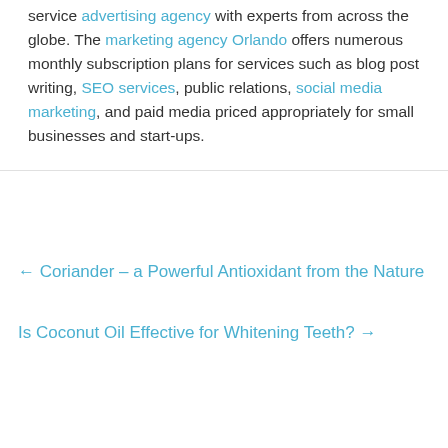service advertising agency with experts from across the globe. The marketing agency Orlando offers numerous monthly subscription plans for services such as blog post writing, SEO services, public relations, social media marketing, and paid media priced appropriately for small businesses and start-ups.
← Coriander – a Powerful Antioxidant from the Nature
Is Coconut Oil Effective for Whitening Teeth? →